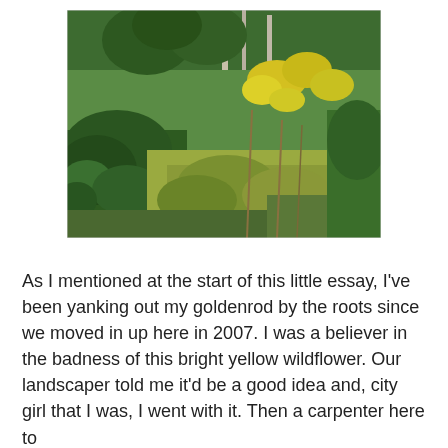[Figure (photo): Outdoor nature photograph showing dense green forest vegetation with yellow goldenrod wildflowers visible among evergreen shrubs and trees. The image shows a wooded area with mixed foliage in varying shades of green, yellow, and brown.]
As I mentioned at the start of this little essay, I've been yanking out my goldenrod by the roots since we moved in up here in 2007. I was a believer in the badness of this bright yellow wildflower. Our landscaper told me it'd be a good idea and, city girl that I was, I went with it. Then a carpenter here to